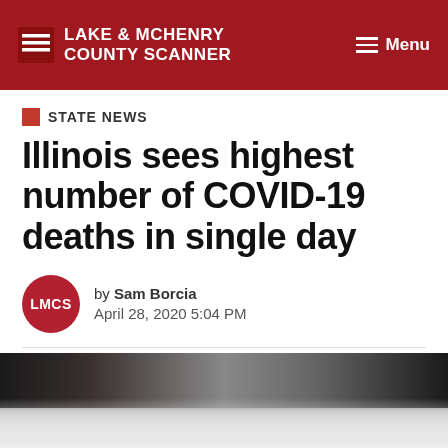LAKE & MCHENRY COUNTY SCANNER | Menu
STATE NEWS
Illinois sees highest number of COVID-19 deaths in single day
by Sam Borcia
April 28, 2020 5:04 PM
[Figure (photo): Press conference or public event photo with flags visible in background, partially visible at bottom of page]